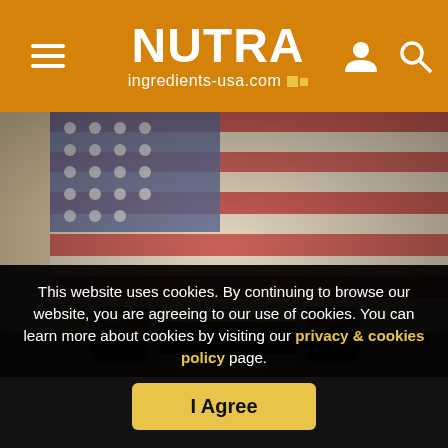NUTRA ingredients-usa.com
[Figure (photo): Blurred American flag background with a gavel in the foreground]
This website uses cookies. By continuing to browse our website, you are agreeing to our use of cookies. You can learn more about cookies by visiting our privacy & cookies policy page.
I Agree